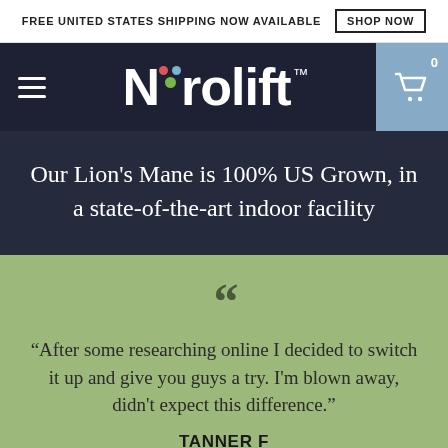FREE UNITED STATES SHIPPING NOW AVAILABLE   SHOP NOW
[Figure (logo): Nurolift logo with colorful dots above the u, on dark navy navigation bar with hamburger menu and shopping cart]
Our Lion’s Mane is 100% US Grown, in a state-of-the-art indoor facility
“After some researching online I decided to switch it up and give you guys a try. I’m blown away, didn’t expect this difference.”
TANNER F